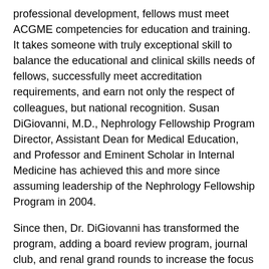professional development, fellows must meet ACGME competencies for education and training. It takes someone with truly exceptional skill to balance the educational and clinical skills needs of fellows, successfully meet accreditation requirements, and earn not only the respect of colleagues, but national recognition. Susan DiGiovanni, M.D., Nephrology Fellowship Program Director, Assistant Dean for Medical Education, and Professor and Eminent Scholar in Internal Medicine has achieved this and more since assuming leadership of the Nephrology Fellowship Program in 2004.
Since then, Dr. DiGiovanni has transformed the program, adding a board review program, journal club, and renal grand rounds to increase the focus on education. She is always accessible for teaching. “She met with the fellows on a weekly basis before their clinic to go over clinical cases and board type questions,” explains Todd W. B. Gehr, M.D., Chair of the Division of Nephrology and Professor of Internal Medicine. During her tenure, the fellowship has expanded to four competitive fellowship slots, remarkable in a time when some fellowships struggle to fill available vacancies.
Dr. DiGiovanni’s efforts have resulted in two successful accreditation cycles and her program has become a model for others. In 2007, Dr.